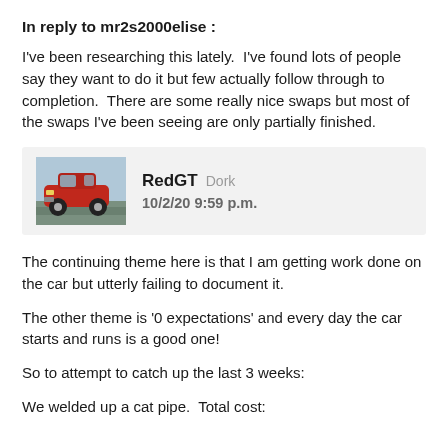In reply to mr2s2000elise :
I've been researching this lately.  I've found lots of people say they want to do it but few actually follow through to completion.  There are some really nice swaps but most of the swaps I've been seeing are only partially finished.
[Figure (other): Forum user card for RedGT with avatar image of red car, username RedGT, rank Dork, date 10/2/20 9:59 p.m.]
The continuing theme here is that I am getting work done on the car but utterly failing to document it.
The other theme is '0 expectations' and every day the car starts and runs is a good one!
So to attempt to catch up the last 3 weeks:
We welded up a cat pipe.  Total cost: